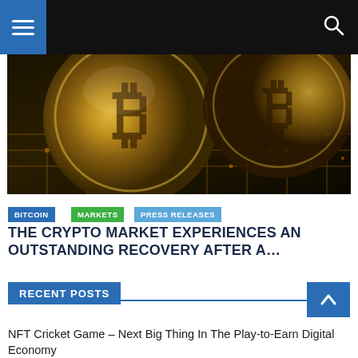Navigation header with menu and search
[Figure (photo): Close-up photo of gold Bitcoin coins on a circuit board with orange/gold lighting]
BITCOIN
MARKETS
PRESS RELEASES
THE CRYPTO MARKET EXPERIENCES AN OUTSTANDING RECOVERY AFTER A...
RECENT POSTS
NFT Cricket Game – Next Big Thing In The Play-to-Earn Digital Economy